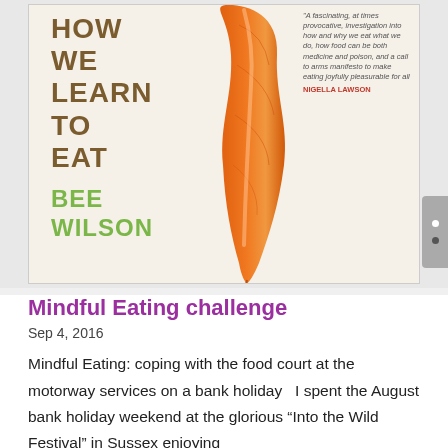[Figure (illustration): Book cover for 'First Bite: How We Learn to Eat' by Bee Wilson, featuring a curving carrot against a pale background with the title in brown and author name in green. A blurb from Nigella Lawson appears on the right side.]
Mindful Eating challenge
Sep 4, 2016
Mindful Eating: coping with the food court at the motorway services on a bank holiday   I spent the August bank holiday weekend at the glorious “Into the Wild Festival” in Sussex enjoying